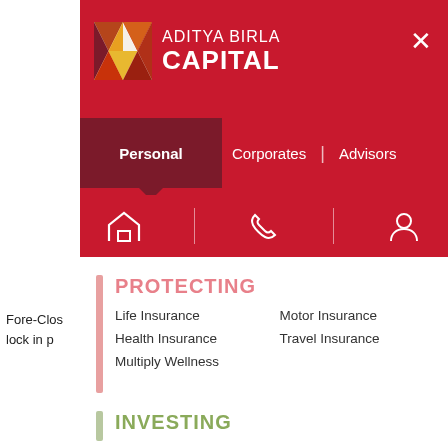[Figure (screenshot): Aditya Birla Capital website navigation overlay. Red header with logo, Personal/Corporates/Advisors tabs, home/phone/person icons, and a dropdown menu showing PROTECTING section with Life Insurance, Motor Insurance, Health Insurance, Travel Insurance, Multiply Wellness items, and the start of an INVESTING section.]
Fore-Clos
lock in p
PROTECTING
Life Insurance
Motor Insurance
Health Insurance
Travel Insurance
Multiply Wellness
INVESTING